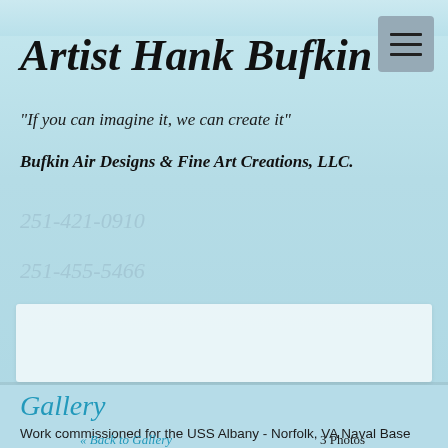Artist Hank Bufkin
"If you can imagine it, we can create it"
Bufkin Air Designs & Fine Art Creations, LLC.
251-421-0910
251-455-5466
[Figure (other): White rectangular banner area]
Gallery
Work commissioned for the USS Albany - Norfolk, VA Naval Base
« Back to Gallery
3 Photos